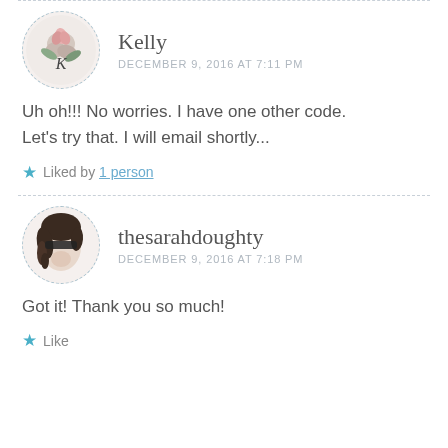Kelly
DECEMBER 9, 2016 AT 7:11 PM
Uh oh!!! No worries. I have one other code. Let's try that. I will email shortly...
Liked by 1 person
thesarahdoughty
DECEMBER 9, 2016 AT 7:18 PM
Got it! Thank you so much!